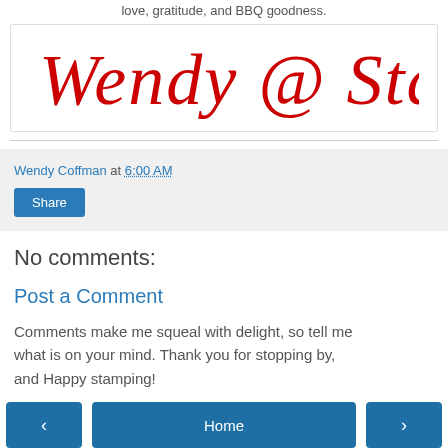love, gratitude, and BBQ goodness.
[Figure (illustration): Handwritten red cursive signature reading 'Wendy @ Stamping Rules!']
Wendy Coffman at 6:00 AM
Share
No comments:
Post a Comment
Comments make me squeal with delight, so tell me what is on your mind. Thank you for stopping by, and Happy stamping!
< Home >